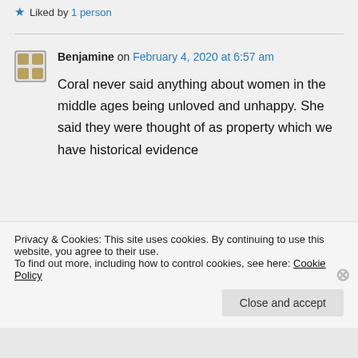Liked by 1 person
Benjamine on February 4, 2020 at 6:57 am
Coral never said anything about women in the middle ages being unloved and unhappy. She said they were thought of as property which we have historical evidence for. He said the…
Privacy & Cookies: This site uses cookies. By continuing to use this website, you agree to their use.
To find out more, including how to control cookies, see here: Cookie Policy